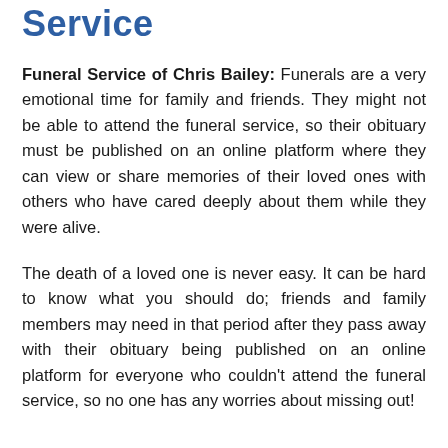Service
Funeral Service of Chris Bailey: Funerals are a very emotional time for family and friends. They might not be able to attend the funeral service, so their obituary must be published on an online platform where they can view or share memories of their loved ones with others who have cared deeply about them while they were alive.
The death of a loved one is never easy. It can be hard to know what you should do; friends and family members may need in that period after they pass away with their obituary being published on an online platform for everyone who couldn't attend the funeral service, so no one has any worries about missing out!